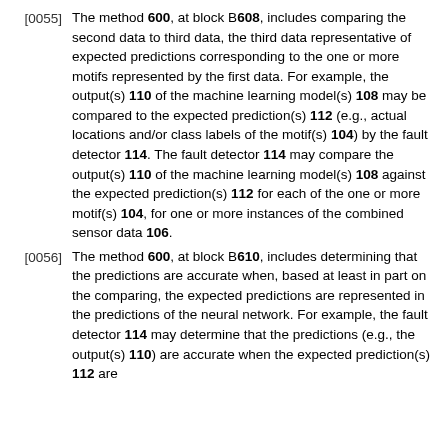[0055] The method 600, at block B608, includes comparing the second data to third data, the third data representative of expected predictions corresponding to the one or more motifs represented by the first data. For example, the output(s) 110 of the machine learning model(s) 108 may be compared to the expected prediction(s) 112 (e.g., actual locations and/or class labels of the motif(s) 104) by the fault detector 114. The fault detector 114 may compare the output(s) 110 of the machine learning model(s) 108 against the expected prediction(s) 112 for each of the one or more motif(s) 104, for one or more instances of the combined sensor data 106.
[0056] The method 600, at block B610, includes determining that the predictions are accurate when, based at least in part on the comparing, the expected predictions are represented in the predictions of the neural network. For example, the fault detector 114 may determine that the predictions (e.g., the output(s) 110) are accurate when the expected prediction(s) 112 are...